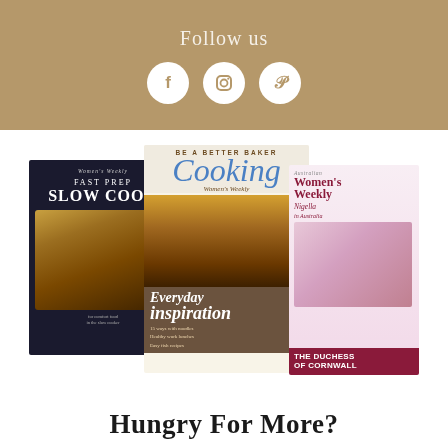Follow us
[Figure (infographic): Social media icons: Facebook, Instagram, Pinterest on white circles against gold background]
[Figure (illustration): Three magazine covers: Women's Weekly Fast Prep Slow Cook cookbook, Cooking with Women's Weekly (Everyday inspiration), and Australian Women's Weekly magazine featuring Nigella in Australia and The Duchess of Cornwall]
Hungry For More?